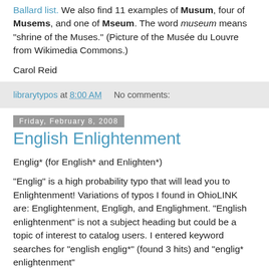Ballard list. We also find 11 examples of Musum, four of Musems, and one of Mseum. The word museum means "shrine of the Muses." (Picture of the Musée du Louvre from Wikimedia Commons.)
Carol Reid
librarytypos at 8:00 AM   No comments:
Friday, February 8, 2008
English Enlightenment
Englig* (for English* and Enlighten*)
"Englig" is a high probability typo that will lead you to Enlightenment! Variations of typos I found in OhioLINK are: Englightenment, Engligh, and Englighment. "English enlightenment" is not a subject heading but could be a topic of interest to catalog users. I entered keyword searches for "english englig*" (found 3 hits) and "englig* enlightenment"